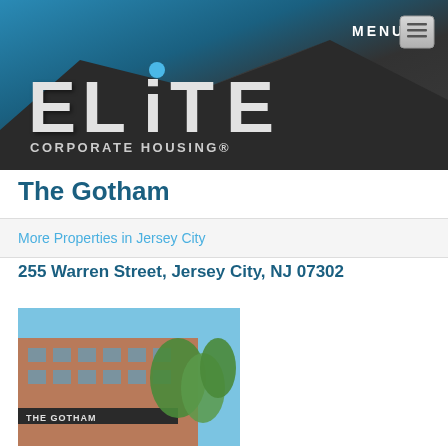[Figure (screenshot): Elite Corporate Housing header banner with dark roof silhouette, teal-to-dark gradient background, white Elite logo with blue dot on i, and MENU button top right]
The Gotham
More Properties in Jersey City
255 Warren Street, Jersey City, NJ 07302
[Figure (photo): Exterior photo of The Gotham building — brick facade with 'THE GOTHAM' sign, green trees, blue sky]